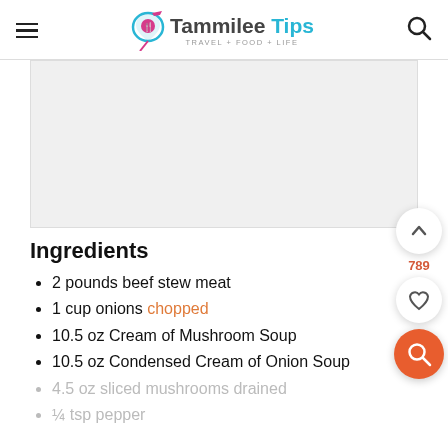Tammilee Tips TRAVEL+FOOD+LIFE
[Figure (other): Gray placeholder content block]
Ingredients
2 pounds beef stew meat
1 cup onions chopped
10.5 oz Cream of Mushroom Soup
10.5 oz Condensed Cream of Onion Soup
4.5 oz sliced mushrooms drained
¼ tsp pepper